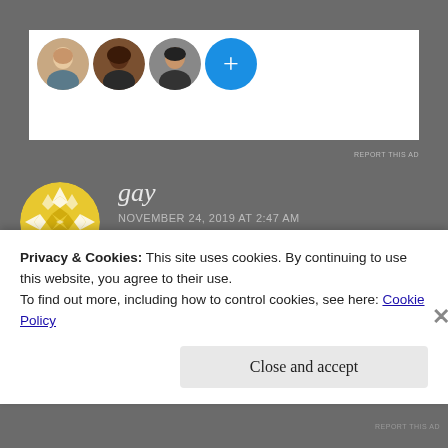[Figure (screenshot): Top portion showing three circular profile photo avatars and a blue plus button on a white ad background]
REPORT THIS AD
gay
NOVEMBER 24, 2019 AT 2:47 AM
Please let me know if you're looking for a writer for your site.
You have some really great articles and I think I could be
Privacy & Cookies: This site uses cookies. By continuing to use this website, you agree to their use.
To find out more, including how to control cookies, see here: Cookie Policy
Close and accept